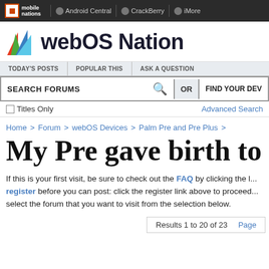mobile nations | Android Central | CrackBerry | iMore
[Figure (logo): webOS Nation logo with colored flag/book icon and bold site name text]
TODAY'S POSTS | POPULAR THIS | ASK A QUESTION
SEARCH FORUMS OR FIND YOUR DEV
Titles Only   Advanced Search
Home > Forum > webOS Devices > Palm Pre and Pre Plus >
My Pre gave birth to a...
If this is your first visit, be sure to check out the FAQ by clicking the l... register before you can post: click the register link above to proceed... select the forum that you want to visit from the selection below.
Results 1 to 20 of 23   Page